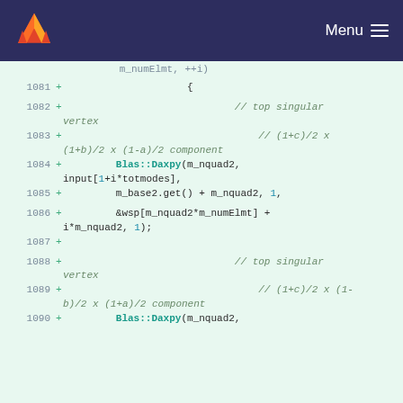Menu
Code diff view showing lines 1081-1090 of a C++ source file with Blas::Daxpy calls and comments about top singular vertex components